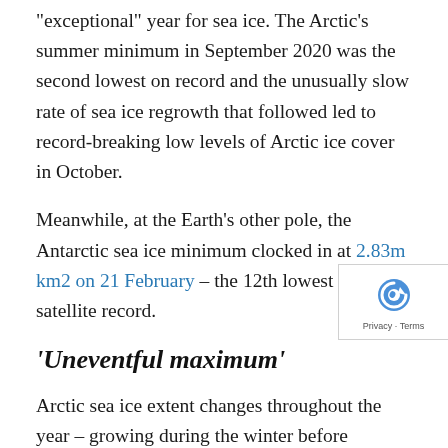“exceptional” year for sea ice. The Arctic’s summer minimum in September 2020 was the second lowest on record and the unusually slow rate of sea ice regrowth that followed led to record-breaking low levels of Arctic ice cover in October.
Meanwhile, at the Earth’s other pole, the Antarctic sea ice minimum clocked in at 2.83m km2 on 21 February – the 12th lowest in the satellite record.
‘Uneventful maximum’
Arctic sea ice extent changes throughout the year – growing during the winter before reaching its peak the year in February or March, and then melting throughout the spring and summer towards its annual minimum. In the first...